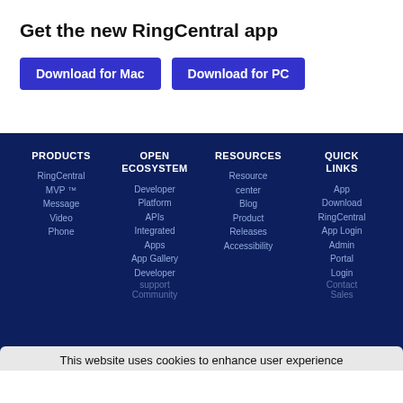Get the new RingCentral app
Download for Mac | Download for PC
PRODUCTS
RingCentral MVP ™
Message
Video
Phone
OPEN ECOSYSTEM
Developer Platform
APIs
Integrated Apps
App Gallery
Developer support
RESOURCES
Resource center
Blog
Product Releases
Accessibility
QUICK LINKS
App Download
RingCentral App Login
Admin Portal
Login
Contact
This website uses cookies to enhance user experience